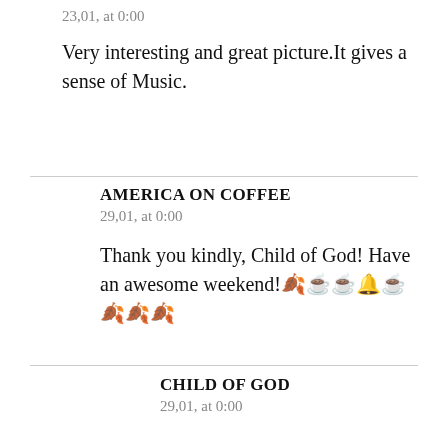23,01, at 0:00
Very interesting and great picture.It gives a sense of Music.
AMERICA ON COFFEE
29,01, at 0:00
Thank you kindly, Child of God! Have an awesome weekend!🍂☕☕🔔☕🍂🍂🍂
CHILD OF GOD
29,01, at 0:00